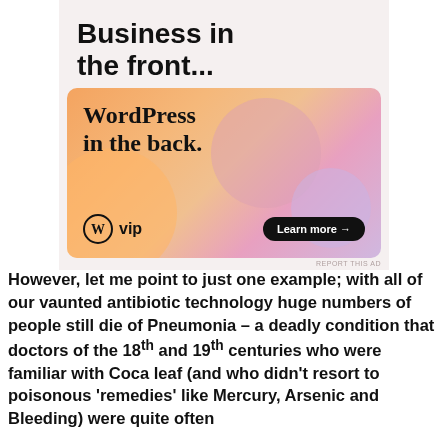[Figure (illustration): WordPress VIP advertisement banner. Top section on light beige background shows 'Business in the front...' in large bold text. Below is a colorful gradient banner (orange to pink to purple) with 'WordPress in the back.' in serif bold text, WordPress VIP logo at bottom left, and 'Learn more →' button at bottom right. 'REPORT THIS AD' text appears below the banner.]
However, let me point to just one example; with all of our vaunted antibiotic technology huge numbers of people still die of Pneumonia – a deadly condition that doctors of the 18th and 19th centuries who were familiar with Coca leaf (and who didn't resort to poisonous 'remedies' like Mercury, Arsenic and Bleeding) were quite often